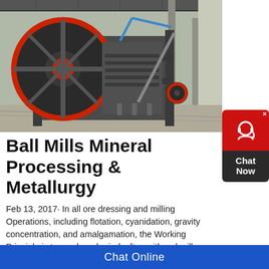[Figure (photo): Large industrial ball mill / jaw crusher machine inside a factory building. The machine has a large red-rimmed flywheel on the left side, heavy steel frame, hydraulic or mechanical arm extending diagonally, and red-accented pulley on the lower right. Industrial shed structure visible in background.]
Ball Mills Mineral Processing & Metallurgy
Feb 13, 2017· In all ore dressing and milling Operations, including flotation, cyanidation, gravity concentration, and amalgamation, the Working Principle is to crush and grind, often with rod mill
[Figure (other): Chat Now widget sidebar button with red top section showing a headset/chat icon, dark bottom section with 'Chat Now' text, and a close X button in the top right corner.]
Chat Online